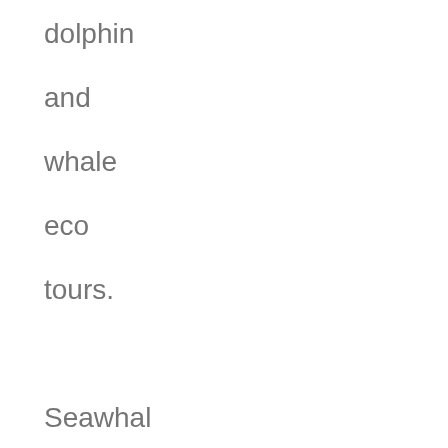dolphin and whale eco tours. Seawhale Ocean Tours offer an exciting retreat peppered with the natural beauty of